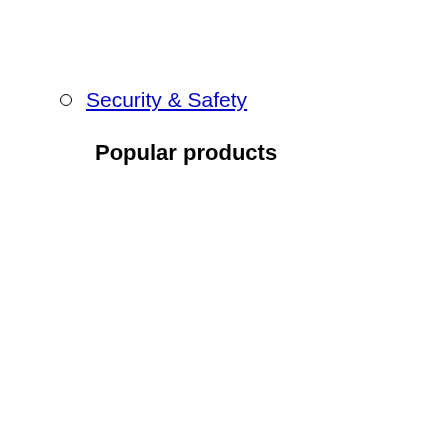Security & Safety
Popular products